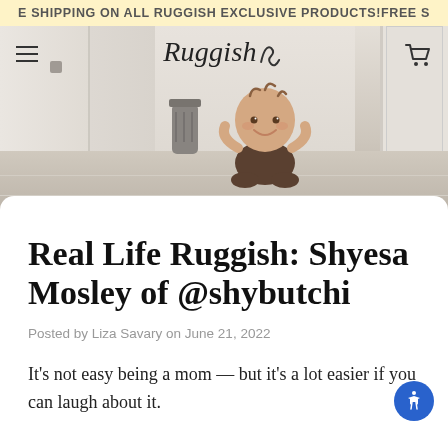FREE SHIPPING ON ALL RUGGISH EXCLUSIVE PRODUCTS!FREE S
[Figure (photo): Ruggish website header with logo in cursive/italic text, hamburger menu icon on the left, shopping cart icon on the right, and a background photo of a smiling baby sitting on a light wood-tone floor in a kitchen/room interior with white cabinetry.]
Real Life Ruggish: Shyesa Mosley of @shybutchi
Posted by Liza Savary on June 21, 2022
It's not easy being a mom — but it's a lot easier if you can laugh about it.